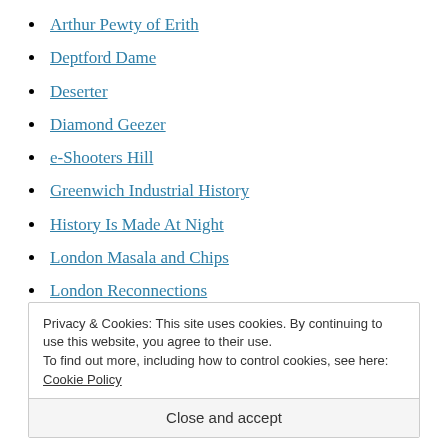Arthur Pewty of Erith
Deptford Dame
Deserter
Diamond Geezer
e-Shooters Hill
Greenwich Industrial History
History Is Made At Night
London Masala and Chips
London Reconnections
Privacy & Cookies: This site uses cookies. By continuing to use this website, you agree to their use.
To find out more, including how to control cookies, see here: Cookie Policy
Close and accept